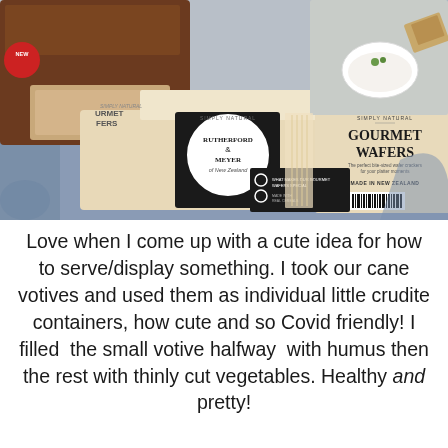[Figure (photo): Photo of Rutherford & Meyer Simply Natural Gourmet Wafers packaging on a blue decorative plate, alongside a cracker product and a bowl of dip with garnish in the background.]
Love when I come up with a cute idea for how to serve/display something. I took our cane votives and used them as individual little crudite containers, how cute and so Covid friendly! I filled  the small votive halfway  with humus then the rest with thinly cut vegetables. Healthy and pretty!